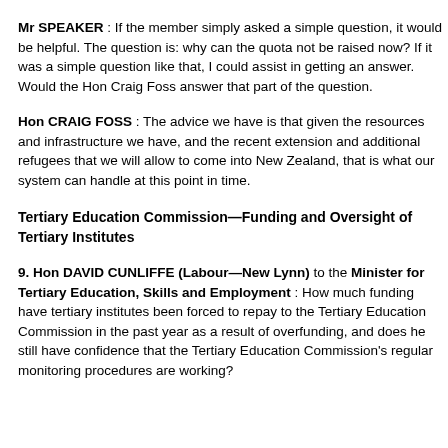Mr SPEAKER : If the member simply asked a simple question, it would be helpful. The question is: why can the quota not be raised now? If it was a simple question like that, I could assist in getting an answer. Would the Hon Craig Foss answer that part of the question.
Hon CRAIG FOSS : The advice we have is that given the resources and infrastructure we have, and the recent extension and additional refugees that we will allow to come into New Zealand, that is what our system can handle at this point in time.
Tertiary Education Commission—Funding and Oversight of Tertiary Institutes
9. Hon DAVID CUNLIFFE (Labour—New Lynn) to the Minister for Tertiary Education, Skills and Employment : How much funding have tertiary institutes been forced to repay to the Tertiary Education Commission in the past year as a result of overfunding, and does he still have confidence that the Tertiary Education Commission's regular monitoring procedures are working?